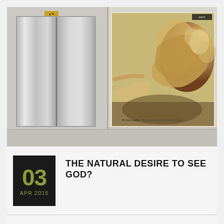[Figure (photo): Photograph of an elevator with stainless steel doors next to a large poster on the wall showing Michelangelo's 'The Creation of Adam' painting, with text at the bottom reading 'Be born again.' This is a creative juxtaposition of the elevator button being pressed and God's hand from the famous fresco.]
THE NATURAL DESIRE TO SEE GOD?
03 APR 2015